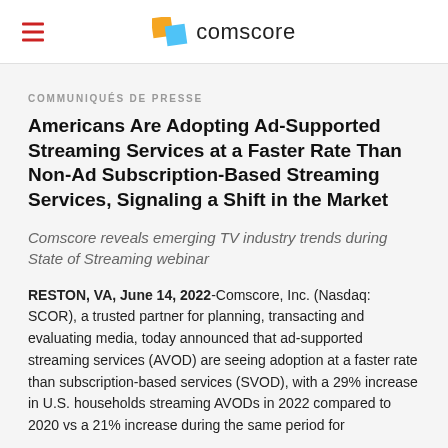comscore
COMMUNIQUÉS DE PRESSE
Americans Are Adopting Ad-Supported Streaming Services at a Faster Rate Than Non-Ad Subscription-Based Streaming Services, Signaling a Shift in the Market
Comscore reveals emerging TV industry trends during State of Streaming webinar
RESTON, VA, June 14, 2022-Comscore, Inc. (Nasdaq: SCOR), a trusted partner for planning, transacting and evaluating media, today announced that ad-supported streaming services (AVOD) are seeing adoption at a faster rate than subscription-based services (SVOD), with a 29% increase in U.S. households streaming AVODs in 2022 compared to 2020 vs a 21% increase during the same period for